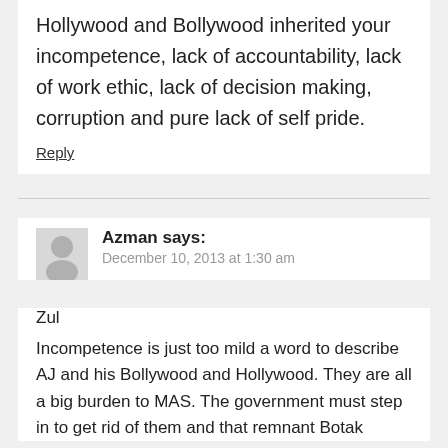Hollywood and Bollywood inherited your incompetence, lack of accountability, lack of work ethic, lack of decision making, corruption and pure lack of self pride.
Reply
Azman says:
December 10, 2013 at 1:30 am
Zul
Incompetence is just too mild a word to describe AJ and his Bollywood and Hollywood. They are all a big burden to MAS. The government must step in to get rid of them and that remnant Botak